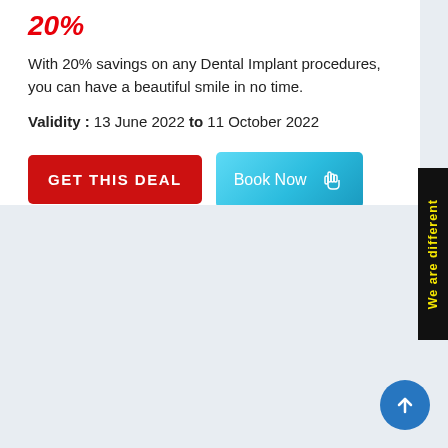20%
With 20% savings on any Dental Implant procedures, you can have a beautiful smile in no time.
Validity : 13 June 2022 to 11 October 2022
[Figure (screenshot): Two buttons: a red 'GET THIS DEAL' button and a teal/blue 'Book Now' button with a hand cursor icon]
[Figure (other): Black vertical sidebar banner with yellow text reading 'We are different']
[Figure (other): Blue circular scroll-to-top button with white upward arrow in bottom right corner]